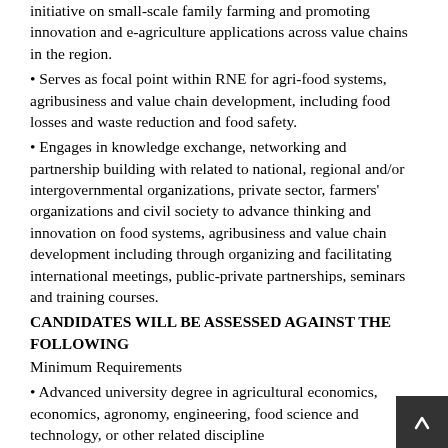initiative on small-scale family farming and promoting innovation and e-agriculture applications across value chains in the region.
• Serves as focal point within RNE for agri-food systems, agribusiness and value chain development, including food losses and waste reduction and food safety.
• Engages in knowledge exchange, networking and partnership building with related to national, regional and/or intergovernmental organizations, private sector, farmers' organizations and civil society to advance thinking and innovation on food systems, agribusiness and value chain development including through organizing and facilitating international meetings, public-private partnerships, seminars and training courses.
CANDIDATES WILL BE ASSESSED AGAINST THE FOLLOWING
Minimum Requirements
• Advanced university degree in agricultural economics, economics, agronomy, engineering, food science and technology, or other related discipline
• Seven years of relevant experience in one or more of